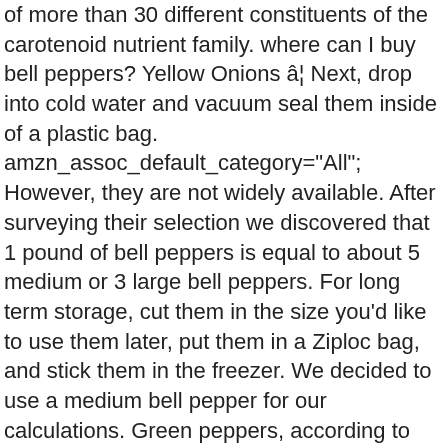of more than 30 different constituents of the carotenoid nutrient family. where can I buy bell peppers? Yellow Onions â¦ Next, drop into cold water and vacuum seal them inside of a plastic bag. amzn_assoc_default_category="All"; However, they are not widely available. After surveying their selection we discovered that 1 pound of bell peppers is equal to about 5 medium or 3 large bell peppers. For long term storage, cut them in the size you'd like to use them later, put them in a Ziploc bag, and stick them in the freezer. We decided to use a medium bell pepper for our calculations. Green peppers, according to StillTasty.com, will last longer than orange or red peppers. $19.28. Add to list. ERS estimated average prices for over 150 commonly consumed fresh and processed fruits and vegetables. While storing, wrap them in a plastic bag and store them inside of a crisper inside of your refrigerator. (adsbygoogle=window.adsbygoogle||[]).push({}); Advertising Disclosure: This content may include referral links. 0.15 lb. This price is often the same for both the green, red and yellow/orange. amzn_assoc_default_search_phrase="fresh Bell Peppers". Out full nutrition facts and other